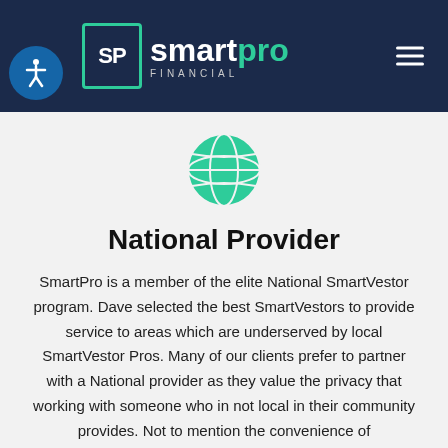[Figure (logo): SmartPro Financial logo with SP initials in a teal-bordered box, and 'smartpro FINANCIAL' text, on a dark navy header bar with hamburger menu icon and accessibility icon]
[Figure (illustration): Green globe/earth icon]
National Provider
SmartPro is a member of the elite National SmartVestor program. Dave selected the best SmartVestors to provide service to areas which are underserved by local SmartVestor Pros. Many of our clients prefer to partner with a National provider as they value the privacy that working with someone who in not local in their community provides. Not to mention the convenience of